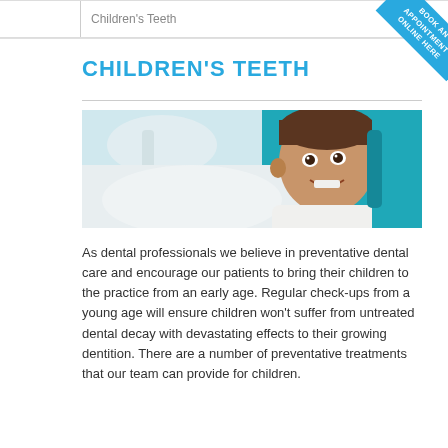Children's Teeth
CHILDREN'S TEETH
[Figure (photo): A smiling young boy in a dental chair wearing a white bib, with dental equipment visible in the background and teal upholstery.]
As dental professionals we believe in preventative dental care and encourage our patients to bring their children to the practice from an early age. Regular check-ups from a young age will ensure children won't suffer from untreated dental decay with devastating effects to their growing dentition. There are a number of preventative treatments that our team can provide for children.